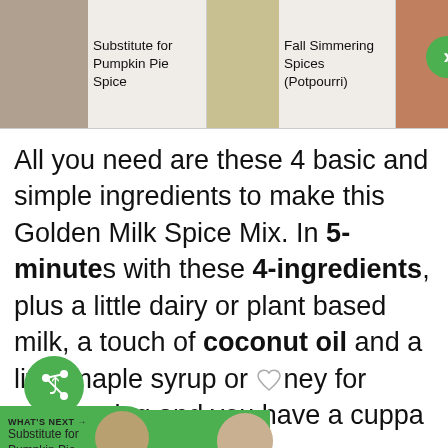Substitute for Pumpkin Pie Spice | Fall Simmering Spices (Potpourri) | Christmas Spices
All you need are these 4 basic and simple ingredients to make this Golden Milk Spice Mix. In 5-minutes with these 4-ingredients, plus a little dairy or plant based milk, a touch of coconut oil and a little maple syrup or honey for sweetening and you have a cuppa this relaxing tea.
[Figure (screenshot): What's Next promo banner: Substitute for Pumpkin Pie...]
[Figure (screenshot): Ad banner with geometric hexagon pattern and close button]